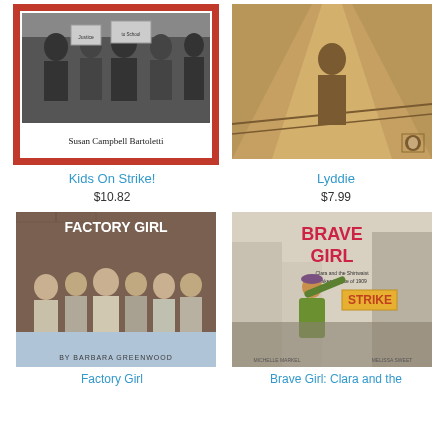[Figure (photo): Book cover: Kids On Strike! by Susan Campbell Bartoletti - black and white photo of children with protest signs]
[Figure (photo): Book cover: Lyddie - sepia tone photo of a girl in a train station or industrial corridor]
Kids On Strike!
Lyddie
$10.82
$7.99
[Figure (photo): Book cover: Factory Girl by Barbara Greenwood - black and white photo of young factory girls]
[Figure (photo): Book cover: Brave Girl: Clara and the Shirtwaist Makers Strike of 1909 - illustrated cover with girl raising fist holding sign STRIKE]
Factory Girl
Brave Girl: Clara and the